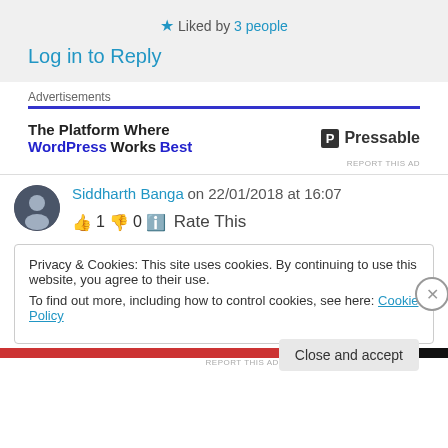★ Liked by 3 people
Log in to Reply
Advertisements
[Figure (other): Advertisement for Pressable: 'The Platform Where WordPress Works Best' with Pressable logo]
Siddharth Banga on 22/01/2018 at 16:07
👍 1 👎 0 ℹ Rate This
Privacy & Cookies: This site uses cookies. By continuing to use this website, you agree to their use.
To find out more, including how to control cookies, see here: Cookie Policy